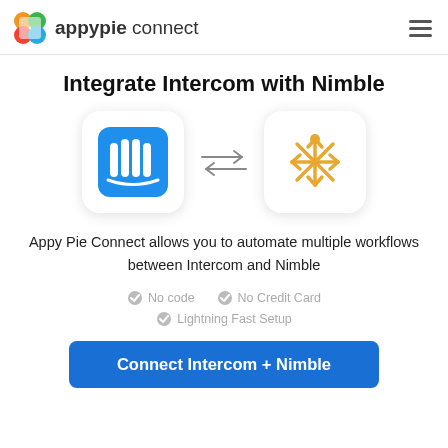appypie connect
Integrate Intercom with Nimble
[Figure (illustration): Intercom logo (blue rounded square with white vertical bars) and Nimble logo (orange/yellow snowflake person icon) connected by bidirectional arrows]
Appy Pie Connect allows you to automate multiple workflows between Intercom and Nimble
No code
No Credit Card
Lightning Fast Setup
Connect Intercom + Nimble